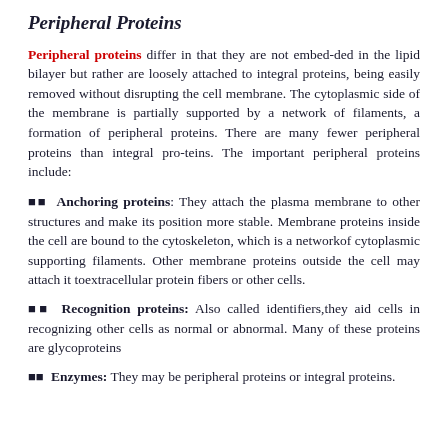Peripheral Proteins
Peripheral proteins differ in that they are not embed-ded in the lipid bilayer but rather are loosely attached to integral proteins, being easily removed without disrupting the cell membrane. The cytoplasmic side of the membrane is partially supported by a network of filaments, a formation of peripheral proteins. There are many fewer peripheral proteins than integral pro-teins. The important peripheral proteins include:
■■ Anchoring proteins: They attach the plasma membrane to other structures and make its position more stable. Membrane proteins inside the cell are bound to the cytoskeleton, which is a networkof cytoplasmic supporting filaments. Other membrane proteins outside the cell may attach it toextracellular protein fibers or other cells.
■■ Recognition proteins: Also called identifiers,they aid cells in recognizing other cells as normal or abnormal. Many of these proteins are glycoproteins
■■ Enzymes: They may be peripheral proteins or integral proteins.